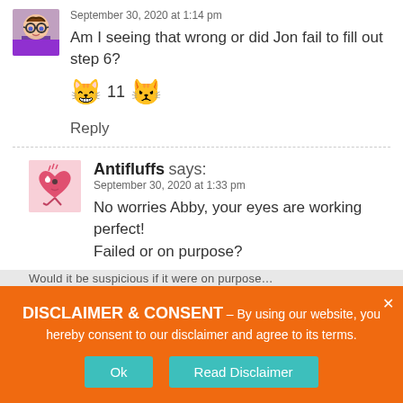September 30, 2020 at 1:14 pm
Am I seeing that wrong or did Jon fail to fill out step 6?
😸 11 😾
Reply
Antifluffs says:
September 30, 2020 at 1:33 pm
No worries Abby, your eyes are working perfect!
Failed or on purpose?
DISCLAIMER & CONSENT - By using our website, you hereby consent to our disclaimer and agree to its terms.
Ok   Read Disclaimer